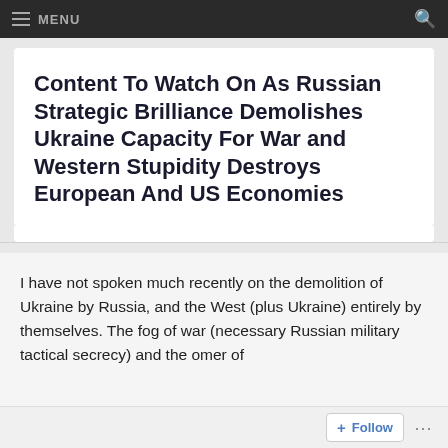MENU
Content To Watch On As Russian Strategic Brilliance Demolishes Ukraine Capacity For War and Western Stupidity Destroys European And US Economies
I have not spoken much recently on the demolition of Ukraine by Russia, and the West (plus Ukraine) entirely by themselves. The fog of war (necessary Russian military tactical secrecy) and the omer of
Follow ...